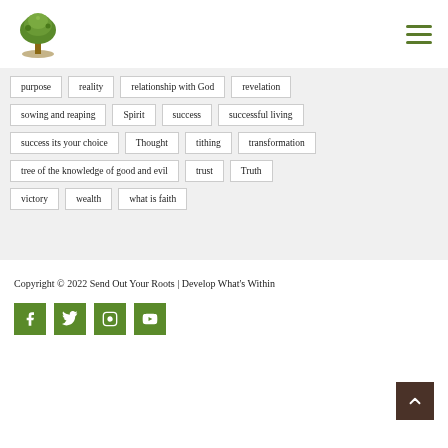[Figure (logo): Green tree logo for Send Out Your Roots website]
purpose
reality
relationship with God
revelation
sowing and reaping
Spirit
success
successful living
success its your choice
Thought
tithing
transformation
tree of the knowledge of good and evil
trust
Truth
victory
wealth
what is faith
Copyright © 2022 Send Out Your Roots | Develop What's Within